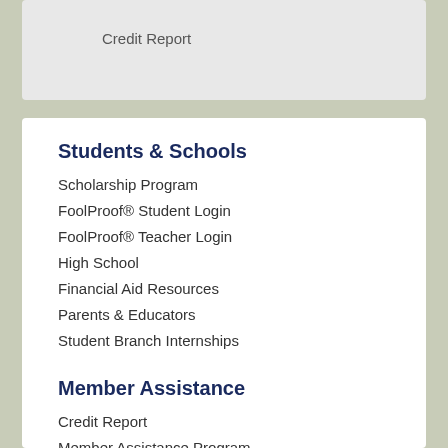Credit Report
Students & Schools
Scholarship Program
FoolProof® Student Login
FoolProof® Teacher Login
High School
Financial Aid Resources
Parents & Educators
Student Branch Internships
Member Assistance
Credit Report
Member Assistance Program
Resources